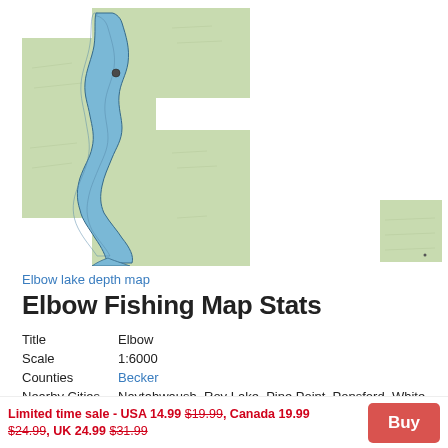[Figure (map): Elbow lake depth map showing topographic contours of the lake with blue water areas and green surrounding terrain, irregular L-shaped composite map]
[Figure (map): Small inset map tile showing green terrain, partial view]
Elbow lake depth map
Elbow Fishing Map Stats
| Title | Elbow |
| Scale | 1:6000 |
| Counties | Becker |
| Nearby Cities | Naytahwaush, Roy Lake, Pine Point, Ponsford, White Earth, Rochert, Pine Bend, Richwood, Two Inlets, Beaulieu |
| Area * | 984.92 acres |
Limited time sale - USA 14.99 $19.99, Canada 19.99 $24.99, UK 24.99 $31.99